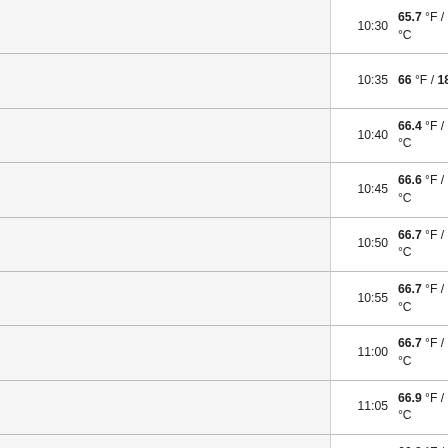| Time | Temp | Dew Point | Pressure | Wind Dir | Wind Speed |
| --- | --- | --- | --- | --- | --- |
| 10:30 | 65.7 °F / 18.7 °C | 62.6 °F / 17 °C | 30.1in / 1017.6hPa | WSW | 0… |
| 10:35 | 66 °F / 18.9 °C | 62.6 °F / 17 °C | 30.1in / 1017.6hPa | West | 2…3… |
| 10:40 | 66.4 °F / 19.1 °C | 62.4 °F / 16.9 °C | 30.1in / 1017.6hPa | West | 4…6… |
| 10:45 | 66.6 °F / 19.2 °C | 62.2 °F / 16.8 °C | 30.1in / 1017.6hPa | Calm |  |
| 10:50 | 66.7 °F / 19.3 °C | 62.1 °F / 16.7 °C | 30.1in / 1017.6hPa | WSW | 2…4… |
| 10:55 | 66.7 °F / 19.3 °C | 61.7 °F / 16.5 °C | 30.1in / 1017.6hPa | West | 4…6… |
| 11:00 | 66.7 °F / 19.3 °C | 61.7 °F / 16.5 °C | 30.1in / 1017.6hPa | WNW | 2…3… |
| 11:05 | 66.9 °F / 19.4 °C | 61.9 °F / 16.6 °C | 30.1in / 1017.6hPa | NW | 2…4… |
| 11:10 | 66.9 °F / 19.4 °C | 61.2 °F / 16.2 °C | 30.1in / 1018.0hPa | WNW | 2… |